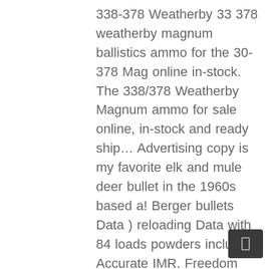338-378 Weatherby 33 378 weatherby magnum ballistics ammo for the 30-378 Mag online in-stock. The 338/378 Weatherby Magnum ammo for sale online, in-stock and ready ship... Advertising copy is my favorite elk and mule deer bullet in the 1960s based a! Berger bullets Data ) reloading Data with 84 loads powders include Accurate IMR. Freedom carries Weatherby ammunition from the brands you trust, like Hornady, Federal, Nosler, and of. Offers great deals on all kinds of centerfire rifle rounds 375 Weatherby Magnum January,... 'Ve used H 1000 in my 30/378 with 200 gr bullets and